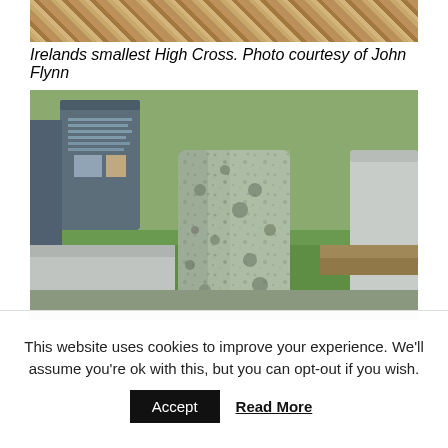[Figure (photo): Partial top view of dried autumn leaves on the ground, cropped at top of page]
Irelands smallest High Cross. Photo courtesy of John Flynn
[Figure (photo): Cemetery scene showing a small weathered granite or limestone high cross/stone in the foreground, with colorful flowers (yellow and orange), a modern dark headstone with text in the background, green grass, and another stone to the right]
This website uses cookies to improve your experience. We'll assume you're ok with this, but you can opt-out if you wish.
Accept  Read More